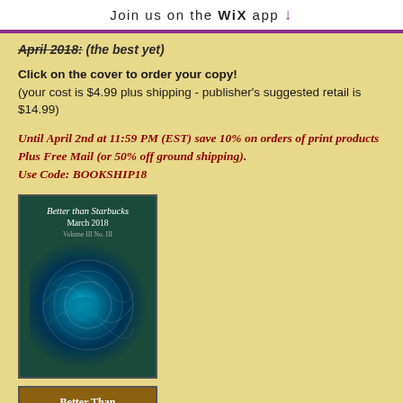Join us on the WiX app ↓
April 2018: (the best yet)
Click on the cover to order your copy!
(your cost is $4.99 plus shipping - publisher's suggested retail is $14.99)
Until April 2nd at 11:59 PM (EST) save 10% on orders of print products Plus Free Mail (or 50% off ground shipping).
Use Code: BOOKSHIP18
[Figure (photo): Cover of Better than Starbucks magazine, March 2018 issue, dark teal with circular abstract image]
[Figure (photo): Cover of Better Than Starbucks magazine, April 2018 issue, brown background with white title text]